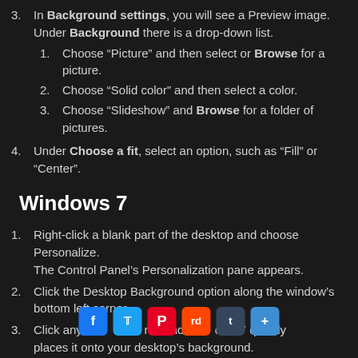In Background settings, you will see a Preview image. Under Background there is a drop-down list.
Choose “Picture” and then select or Browse for a picture.
Choose “Solid color” and then select a color.
Choose “Slideshow” and Browse for a folder of pictures.
Under Choose a fit, select an option, such as “Fill” or “Center”.
Windows 7
Right-click a blank part of the desktop and choose Personalize.
The Control Panel’s Personalization pane appears.
Click the Desktop Background option along the window’s bottom left corner.
Click any of the pictures and Windows 7 quickly places it onto your desktop’s background.